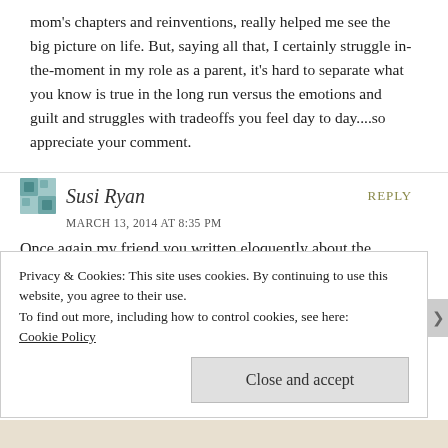mom's chapters and reinventions, really helped me see the big picture on life. But, saying all that, I certainly struggle in-the-moment in my role as a parent, it's hard to separate what you know is true in the long run versus the emotions and guilt and struggles with tradeoffs you feel day to day....so appreciate your comment.
Susi Ryan
MARCH 13, 2014 AT 8:35 PM
REPLY
Once again my friend you written eloquently about the balancing of roles and transitions. Well done. You will be fabulous in this next endeavor.
Privacy & Cookies: This site uses cookies. By continuing to use this website, you agree to their use.
To find out more, including how to control cookies, see here:
Cookie Policy
Close and accept